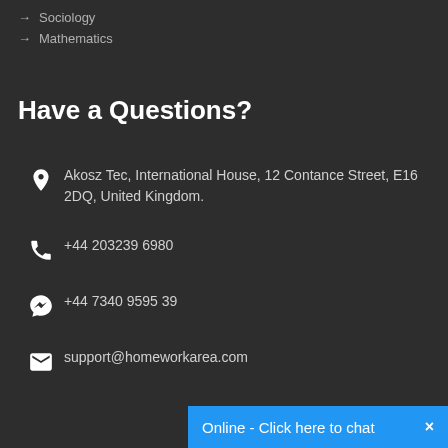→ Sociology
→ Mathematics
Have a Questions?
Akosz Tec, International House, 12 Contance Street, E16 2DQ, United Kingdom.
+44 203239 6980
+44 7340 9595 39
support@homeworkarea.com
Online - Click here to chat  ×